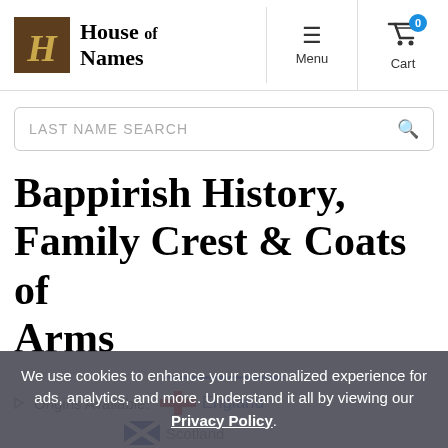House of Names — Menu | Cart (0)
LAST NAME SEARCH
Bappirish History, Family Crest & Coats of Arms
Origins Available: England
Scotland
We use cookies to enhance your personalized experience for ads, analytics, and more. Understand it all by viewing our Privacy Policy.